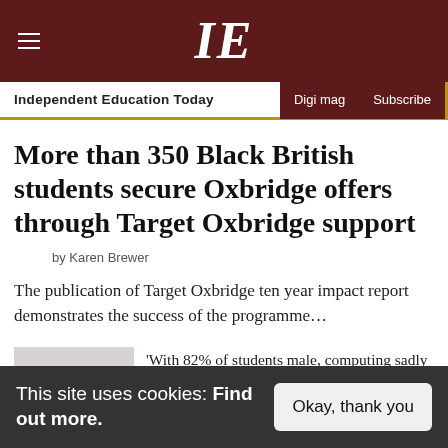IE — Independent Education Today | Digi mag | Subscribe
More than 350 Black British students secure Oxbridge offers through Target Oxbridge support
by Karen Brewer
The publication of Target Oxbridge ten year impact report demonstrates the success of the programme…
'With 82% of students male, computing sadly remains the subject with the biggest gender
This site uses cookies: Find out more.